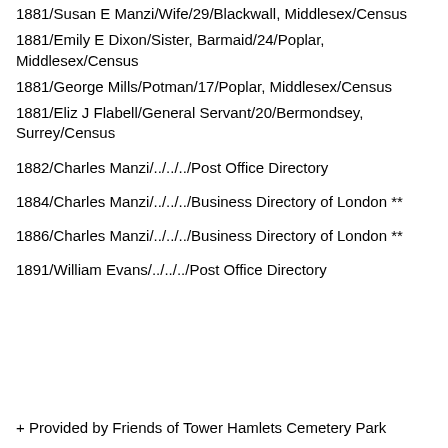1881/Susan E Manzi/Wife/29/Blackwall, Middlesex/Census
1881/Emily E Dixon/Sister, Barmaid/24/Poplar, Middlesex/Census
1881/George Mills/Potman/17/Poplar, Middlesex/Census
1881/Eliz J Flabell/General Servant/20/Bermondsey, Surrey/Census
1882/Charles Manzi/../../../Post Office Directory
1884/Charles Manzi/../../../Business Directory of London **
1886/Charles Manzi/../../../Business Directory of London **
1891/William Evans/../../../Post Office Directory
+ Provided by Friends of Tower Hamlets Cemetery Park